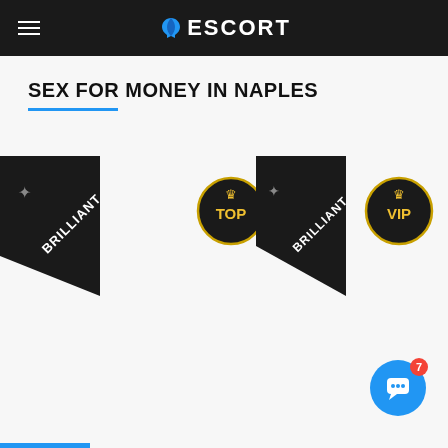ESCORT
SEX FOR MONEY IN NAPLES
[Figure (other): Listing badges: two BRILLIANT banners, one TOP circle badge, one VIP circle badge with crowns]
[Figure (other): Chat button (blue circle with smiley face and red notification badge showing 7)]